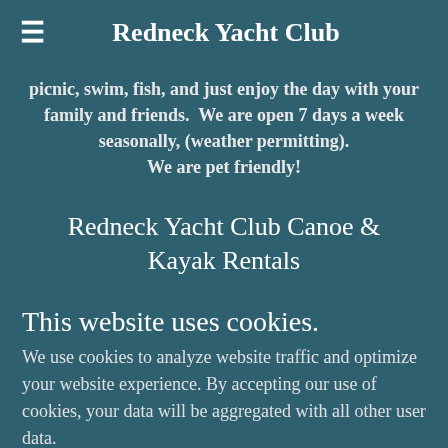Redneck Yacht Club
picnic, swim, fish, and just enjoy the day with your family and friends.  We are open 7 days a week seasonally, (weather permitting).
We are pet friendly!
Redneck Yacht Club Canoe & Kayak Rentals
This website uses cookies.
We use cookies to analyze website traffic and optimize your website experience. By accepting our use of cookies, your data will be aggregated with all other user data.